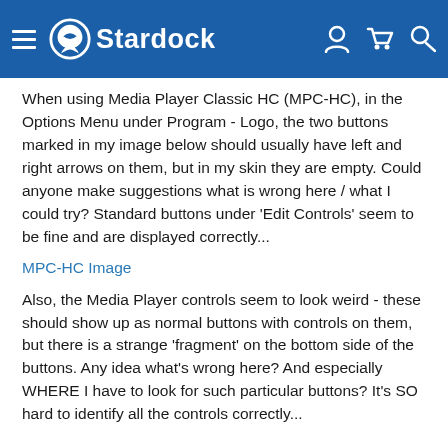Stardock
When using Media Player Classic HC (MPC-HC), in the Options Menu under Program - Logo, the two buttons marked in my image below should usually have left and right arrows on them, but in my skin they are empty. Could anyone make suggestions what is wrong here / what I could try?  Standard buttons under 'Edit Controls' seem to be fine and are displayed correctly...
MPC-HC Image
Also, the Media Player controls seem to look weird - these should show up as normal buttons with controls on them, but there is a strange 'fragment' on the bottom side of the buttons.  Any idea what's wrong here?  And especially WHERE I have to look for such particular buttons?  It's SO hard to identify all the controls correctly...